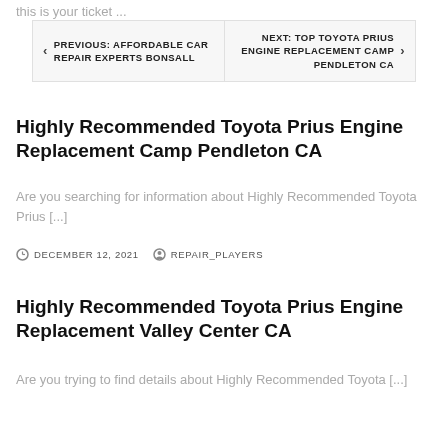this is your ticket ...
PREVIOUS: AFFORDABLE CAR REPAIR EXPERTS BONSALL
NEXT: TOP TOYOTA PRIUS ENGINE REPLACEMENT CAMP PENDLETON CA
Highly Recommended Toyota Prius Engine Replacement Camp Pendleton CA
Are you searching for information about Highly Recommended Toyota Prius [...]
DECEMBER 12, 2021   REPAIR_PLAYERS
Highly Recommended Toyota Prius Engine Replacement Valley Center CA
Are you trying to find details about Highly Recommended Toyota [...]